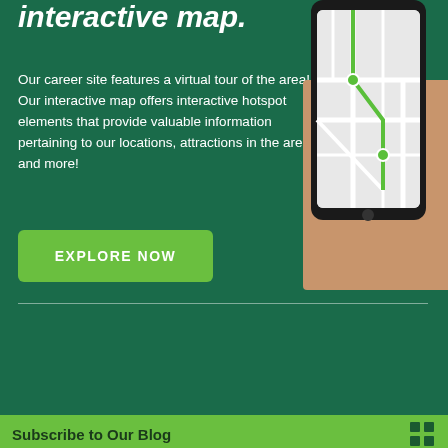interactive map.
Our career site features a virtual tour of the area! Our interactive map offers interactive hotspot elements that provide valuable information pertaining to our locations, attractions in the area and more!
[Figure (other): Hand holding a smartphone displaying an interactive map with green route markers and gray road network]
EXPLORE NOW
Work and live New Ham
[Figure (other): Road or street scene visible in lower right corner]
Subscribe to Our Blog